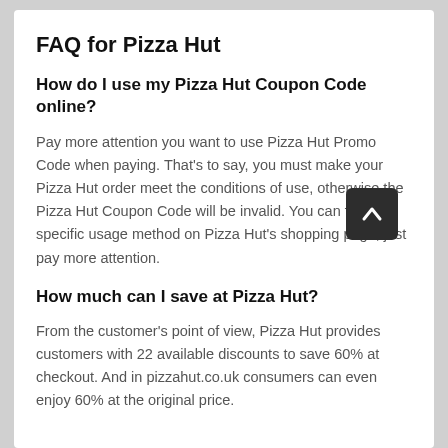FAQ for Pizza Hut
How do I use my Pizza Hut Coupon Code online?
Pay more attention you want to use Pizza Hut Promo Code when paying. That's to say, you must make your Pizza Hut order meet the conditions of use, otherwise the Pizza Hut Coupon Code will be invalid. You can find the specific usage method on Pizza Hut's shopping page, just pay more attention.
How much can I save at Pizza Hut?
From the customer's point of view, Pizza Hut provides customers with 22 available discounts to save 60% at checkout. And in pizzahut.co.uk consumers can even enjoy 60% at the original price.